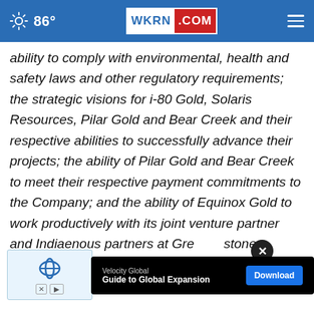86° WKRN.COM
ability to comply with environmental, health and safety laws and other regulatory requirements; the strategic visions for i-80 Gold, Solaris Resources, Pilar Gold and Bear Creek and their respective abilities to successfully advance their projects; the ability of Pilar Gold and Bear Creek to meet their respective payment commitments to the Company; and the ability of Equinox Gold to work productively with its joint venture partner and Indigenous partners at Greenstone. While [ad overlay] tions
[Figure (screenshot): Advertisement overlay: Velocity Global 'Guide to Global Expansion' with Download button and close X button]